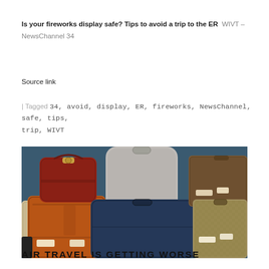Is your fireworks display safe? Tips to avoid a trip to the ER  WIVT – NewsChannel 34
Source link
| Tagged 34, avoid, display, ER, fireworks, NewsChannel, safe, tips, trip, WIVT
[Figure (photo): Overhead view of multiple vintage suitcases and bags of various colors and styles arranged on a dark blue surface]
AIR TRAVEL IS GETTING WORSE